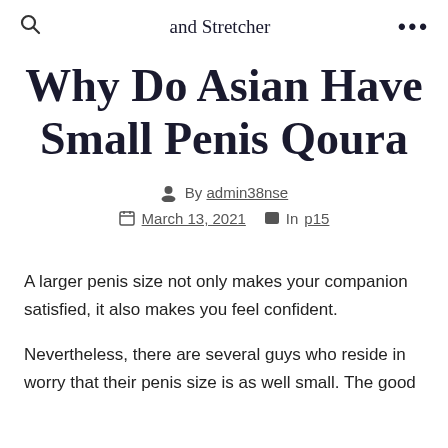and Stretcher
Why Do Asian Have Small Penis Qoura
By admin38nse
March 13, 2021  In p15
A larger penis size not only makes your companion satisfied, it also makes you feel confident. Nevertheless, there are several guys who reside in worry that their penis size is as well small. The good